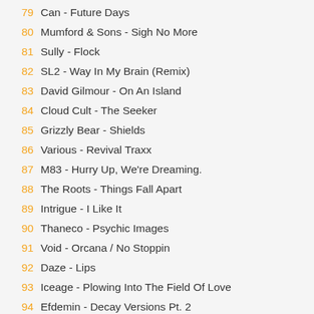79 Can - Future Days
80 Mumford & Sons - Sigh No More
81 Sully - Flock
82 SL2 - Way In My Brain (Remix)
83 David Gilmour - On An Island
84 Cloud Cult - The Seeker
85 Grizzly Bear - Shields
86 Various - Revival Traxx
87 M83 - Hurry Up, We're Dreaming.
88 The Roots - Things Fall Apart
89 Intrigue - I Like It
90 Thaneco - Psychic Images
91 Void - Orcana / No Stoppin
92 Daze - Lips
93 Iceage - Plowing Into The Field Of Love
94 Efdemin - Decay Versions Pt. 2
95 Various - The Fifth Column
96 Dan Auerbach - Waiting On A Song
97 Queen - Bohemian Rhapsody